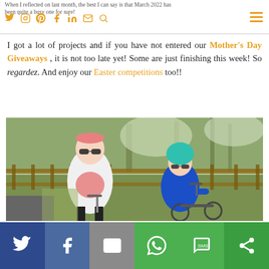When I reflected on last month, the best I can say is that March 2022 has been quite a busy one for sure!
I got a lot of projects and if you have not entered our Mother's Day Giveaways , it is not too late yet! Some are just finishing this week! So regardez. And enjoy our Easter competitions too!!
[Figure (photo): A woman in a white blazer and pink headband with sunglasses smiling, standing next to a young child wearing a blue jacket and teal helmet with sunglasses, at a park with a wooden fence and trees in the background.]
Social sharing bar with Twitter, Facebook, Email, WhatsApp, SMS, and other share icons